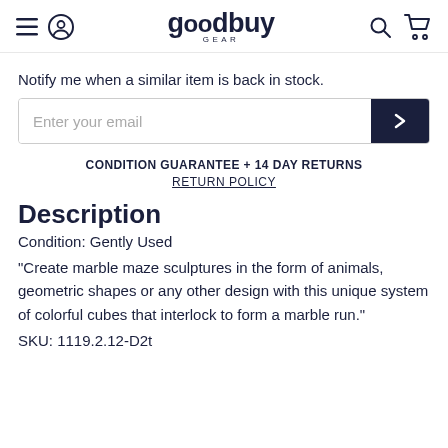goodbuy GEAR — navigation header with hamburger, user icon, logo, search, and cart icons
Notify me when a similar item is back in stock.
Enter your email [input field with submit button]
CONDITION GUARANTEE + 14 DAY RETURNS
RETURN POLICY
Description
Condition: Gently Used
"Create marble maze sculptures in the form of animals, geometric shapes or any other design with this unique system of colorful cubes that interlock to form a marble run."
SKU: 1119.2.12-D2t